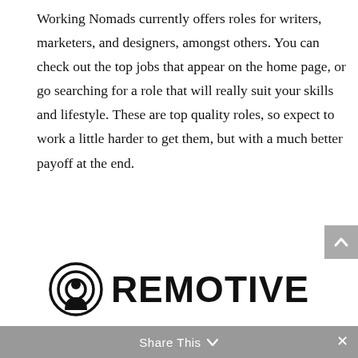Working Nomads currently offers roles for writers, marketers, and designers, amongst others. You can check out the top jobs that appear on the home page, or go searching for a role that will really suit your skills and lifestyle. These are top quality roles, so expect to work a little harder to get them, but with a much better payoff at the end.
[Figure (logo): Remotive logo: concentric circle/target icon with a person silhouette, followed by bold text 'REMOTIVE']
Share This ∨  ×